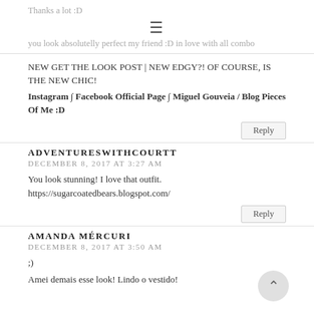Thanks a lot :D
[Figure (other): Hamburger menu icon (three horizontal lines)]
you look absolutelly perfect my friend :D in love with all combo
NEW GET THE LOOK POST | NEW EDGY?! OF COURSE, IS THE NEW CHIC!
Instagram ∫ Facebook Official Page ∫ Miguel Gouveia / Blog Pieces Of Me :D
Reply
ADVENTURESWITHCOURTT
DECEMBER 8, 2017 AT 3:27 AM
You look stunning! I love that outfit.
https://sugarcoatedbears.blogspot.com/
Reply
AMANDA MÉRCURI
DECEMBER 8, 2017 AT 3:50 AM
;)
Amei demais esse look! Lindo o vestido!